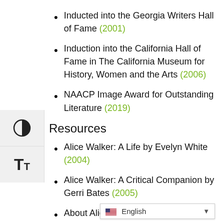Inducted into the Georgia Writers Hall of Fame (2001)
Induction into the California Hall of Fame in The California Museum for History, Women and the Arts (2006)
NAACP Image Award for Outstanding Literature (2019)
Resources
Alice Walker: A Life by Evelyn White (2004)
Alice Walker: A Critical Companion by Gerri Bates (2005)
About Alice by Calvin Trillin (2006)
Alice Walker by